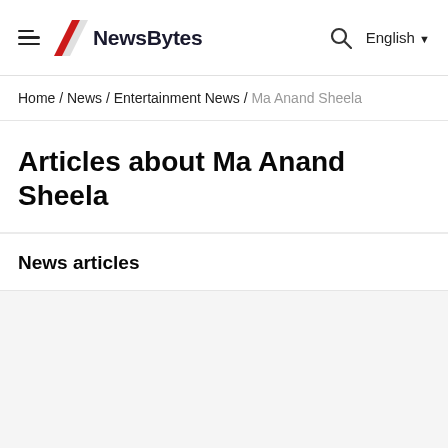NewsBytes — English
Home / News / Entertainment News / Ma Anand Sheela
Articles about Ma Anand Sheela
News articles